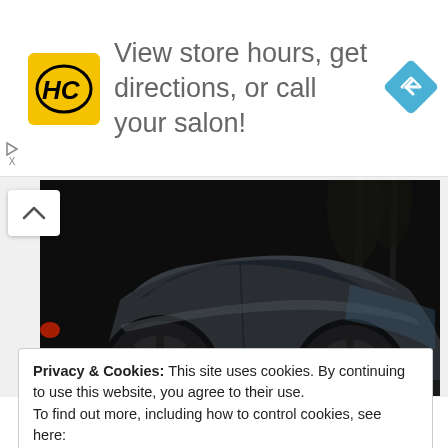[Figure (screenshot): Advertisement banner: HC salon logo (yellow square with HC text), text 'View store hours, get directions, or call your salon!', blue diamond navigation icon on the right. Small play/close icons on left edge.]
[Figure (photo): Dark nighttime photograph of a dark gray/silver car (sedan) showing the side profile, wheel, and body, with palm trees faintly visible in background. High contrast, moody lighting.]
Privacy & Cookies: This site uses cookies. By continuing to use this website, you agree to their use.
To find out more, including how to control cookies, see here:
Cookie Policy
[Figure (screenshot): Social media footer icons: Facebook, Twitter, Pinterest, Email icons in a row]